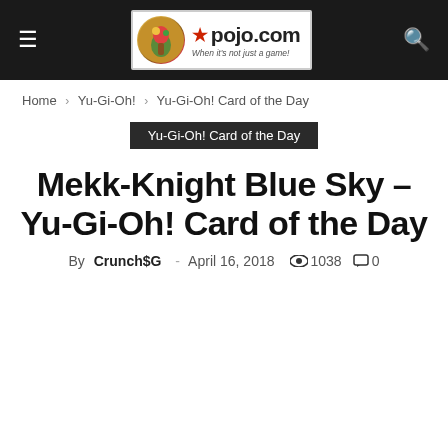pojo.com — When it's not just a game!
Home › Yu-Gi-Oh! › Yu-Gi-Oh! Card of the Day
Yu-Gi-Oh! Card of the Day
Mekk-Knight Blue Sky – Yu-Gi-Oh! Card of the Day
By Crunch$G — April 16, 2018  1038  0